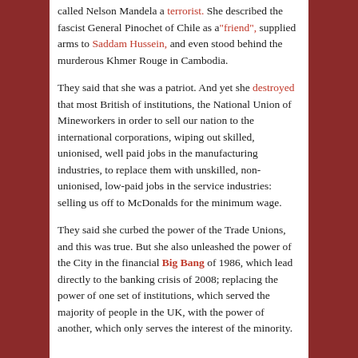called Nelson Mandela a terrorist. She described the fascist General Pinochet of Chile as a"friend", supplied arms to Saddam Hussein, and even stood behind the murderous Khmer Rouge in Cambodia.
They said that she was a patriot. And yet she destroyed that most British of institutions, the National Union of Mineworkers in order to sell our nation to the international corporations, wiping out skilled, unionised, well paid jobs in the manufacturing industries, to replace them with unskilled, non-unionised, low-paid jobs in the service industries: selling us off to McDonalds for the minimum wage.
They said she curbed the power of the Trade Unions, and this was true. But she also unleashed the power of the City in the financial Big Bang of 1986, which lead directly to the banking crisis of 2008; replacing the power of one set of institutions, which served the majority of people in the UK, with the power of another, which only serves the interest of the minority.